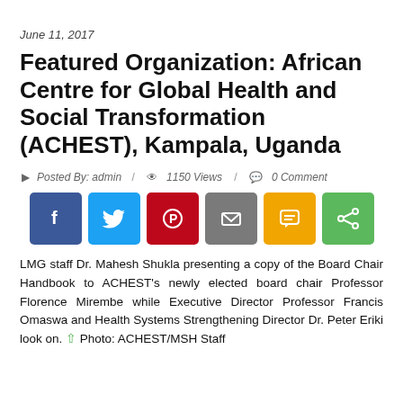June 11, 2017
Featured Organization: African Centre for Global Health and Social Transformation (ACHEST), Kampala, Uganda
Posted By: admin  /  1150 Views  /  0 Comment
[Figure (infographic): Social share buttons: Facebook (blue), Twitter (light blue), Pinterest (red), Email (gray), SMS (yellow/orange), Share (green)]
LMG staff Dr. Mahesh Shukla presenting a copy of the Board Chair Handbook to ACHEST's newly elected board chair Professor Florence Mirembe while Executive Director Professor Francis Omaswa and Health Systems Strengthening Director Dr. Peter Eriki look on. Photo: ACHEST/MSH Staff